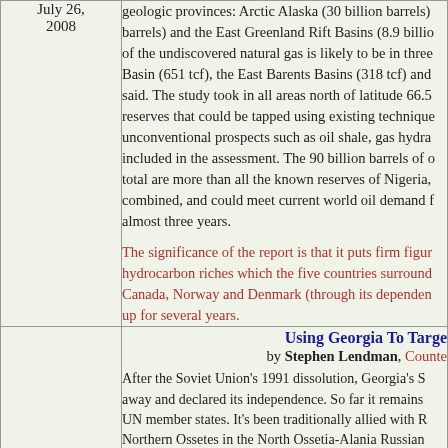| Date | Content |
| --- | --- |
| July 26, 2008 | geologic provinces: Arctic Alaska (30 billion barrels), barrels) and the East Greenland Rift Basins (8.9 billion of the undiscovered natural gas is likely to be in three Basin (651 tcf), the East Barents Basins (318 tcf) and said. The study took in all areas north of latitude 66.5 reserves that could be tapped using existing techniques unconventional prospects such as oil shale, gas hydra included in the assessment. The 90 billion barrels of total are more than all the known reserves of Nigeria, combined, and could meet current world oil demand almost three years. The significance of the report is that it puts firm figures hydrocarbon riches which the five countries surrounding Canada, Norway and Denmark (through its dependence up for several years. |
|  | Using Georgia To Target [title] by Stephen Lendman, CounterPunch After the Soviet Union's 1991 dissolution, Georgia's away and declared its independence. So far it remains UN member states. It's been traditionally allied with Northern Ossetes in the North Ossetia-Alania Russian prospect, but Russia appears receptive to the idea. An other breakaway province. The conflict also has impl small independent Russian-majority part of Moldova |